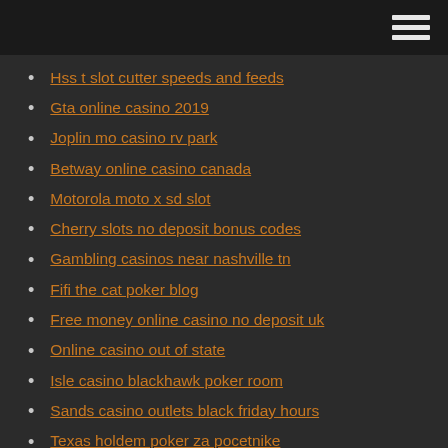Hss t slot cutter speeds and feeds
Gta online casino 2019
Joplin mo casino rv park
Betway online casino canada
Motorola moto x sd slot
Cherry slots no deposit bonus codes
Gambling casinos near nashville tn
Fifi the cat poker blog
Free money online casino no deposit uk
Online casino out of state
Isle casino blackhawk poker room
Sands casino outlets black friday hours
Texas holdem poker za pocetnike
Is gambling winnings considered earned income